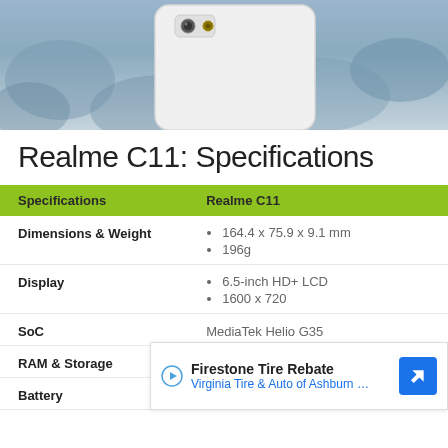[Figure (photo): Photo of Realme C11 smartphone, white back, showing dual camera, placed on rocky/pebble surface]
Realme C11: Specifications
| Specifications | Realme C11 |
| --- | --- |
| Dimensions & Weight | 164.4 x 75.9 x 9.1 mm
196g |
| Display | 6.5-inch HD+ LCD
1600 x 720 |
| SoC | MediaTek Helio G35 |
| RAM & Storage | 2GB LPDDR4x + 32GB |
| Battery |  |
Firestone Tire Rebate Virginia Tire & Auto of Ashburn …